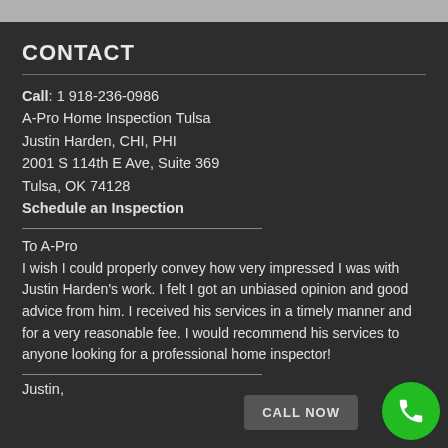CONTACT
Call: 1 918-236-0986
A-Pro Home Inspection Tulsa
Justin Harden, CHI, PHI
2001 S 114th E Ave, Suite 369
Tulsa, OK 74128
Schedule an Inspection
To A-Pro
I wish I could properly convey how very impressed I was with Justin Harden's work. I felt I got an unbiased opinion and good advice from him. I received his services in a timely manner and for a very reasonable fee. I would recommend his services to anyone looking for a professional home inspector!
Justin,